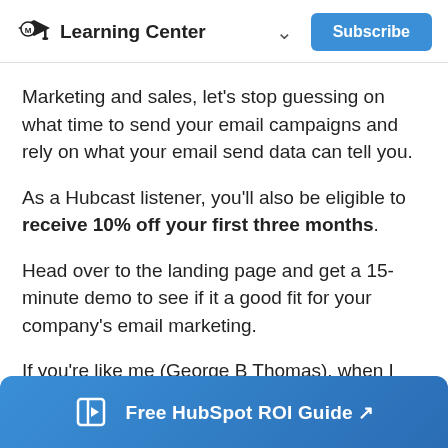Learning Center  Subscribe
Marketing and sales, let's stop guessing on what time to send your email campaigns and rely on what your email send data can tell you.
As a Hubcast listener, you'll also be eligible to receive 10% off your first three months.
Head over to the landing page and get a 15-minute demo to see if it a good fit for your company's email marketing.
If you're like me (George B Thomas), when I was
Free HubSpot ROI Guide ↗